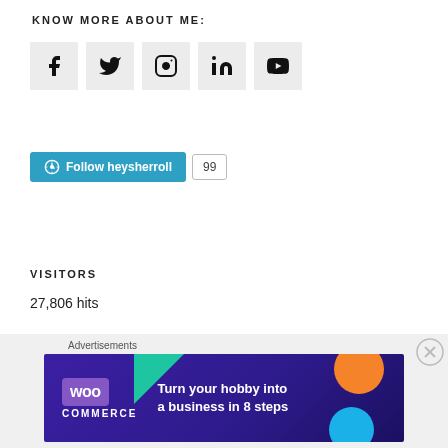KNOW MORE ABOUT ME:
[Figure (infographic): Five social media icons in light gray square boxes: Facebook, Twitter, Instagram, LinkedIn, YouTube]
[Figure (infographic): WordPress Follow button with 'Follow heysherroll' text in teal, and a count badge showing 99]
VISITORS
27,806 hits
Advertisements
[Figure (infographic): WooCommerce advertisement banner: dark purple background with teal and orange shapes, WooCommerce logo, text 'Turn your hobby into a business in 8 steps']